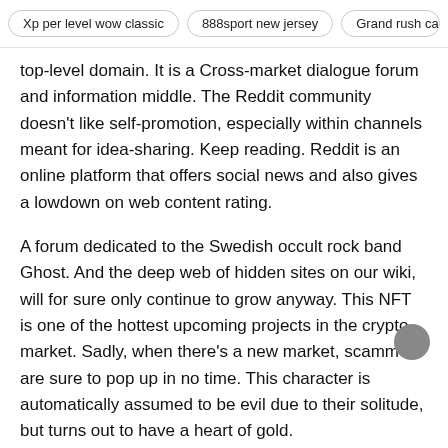Xp per level wow classic   888sport new jersey   Grand rush casin
top-level domain. It is a Cross-market dialogue forum and information middle. The Reddit community doesn't like self-promotion, especially within channels meant for idea-sharing. Keep reading. Reddit is an online platform that offers social news and also gives a lowdown on web content rating.
A forum dedicated to the Swedish occult rock band Ghost. And the deep web of hidden sites on our wiki, will for sure only continue to grow anyway. This NFT is one of the hottest upcoming projects in the crypto market. Sadly, when there's a new market, scammers are sure to pop up in no time. This character is automatically assumed to be evil due to their solitude, but turns out to have a heart of gold.
World market has strong anti-DDoS protection, Important: